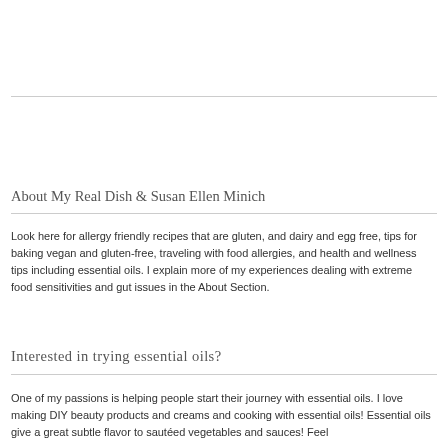About My Real Dish & Susan Ellen Minich
Look here for allergy friendly recipes that are gluten, and dairy and egg free, tips for baking vegan and gluten-free, traveling with food allergies, and health and wellness tips including essential oils. I explain more of my experiences dealing with extreme food sensitivities and gut issues in the About Section.
Interested in trying essential oils?
One of my passions is helping people start their journey with essential oils. I love making DIY beauty products and creams and cooking with essential oils! Essential oils give a great subtle flavor to sautéed vegetables and sauces! Feel